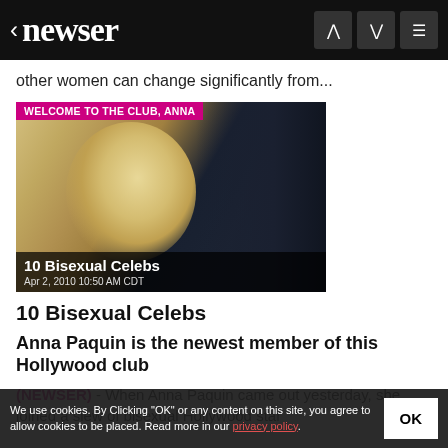< newser
other women can change significantly from...
[Figure (photo): Photo of Anna Paquin (blonde woman smiling) with overlay text 'WELCOME TO THE CLUB, ANNA' and '10 Bisexual Celebs', dated Apr 2, 2010 10:50 AM CDT]
10 Bisexual Celebs
Anna Paquin is the newest member of this Hollywood club
(NEWSER) - When Anna Paquin came out yesterday, she joined a slew of bisexual Hollywood star...
We use cookies. By Clicking "OK" or any content on this site, you agree to allow cookies to be placed. Read more in our privacy policy.